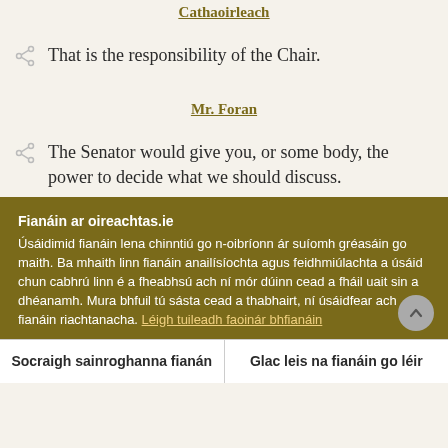Cathaoirleach
That is the responsibility of the Chair.
Mr. Foran
The Senator would give you, or some body, the power to decide what we should discuss.
Fianáin ar oireachtas.ie
Úsáidimid fianáin lena chinntiú go n-oibríonn ár suíomh gréasáin go maith. Ba mhaith linn fianáin anailísíochta agus feidhmiúlachta a úsáid chun cabhrú linn é a fheabhsú ach ní mór dúinn cead a fháil uait sin a dhéanamh. Mura bhfuil tú sásta cead a thabhairt, ní úsáidfear ach fianáin riachtanacha. Léigh tuileadh faoinár bhfianáin
Socraigh sainroghanna fianán
Glac leis na fianáin go léir